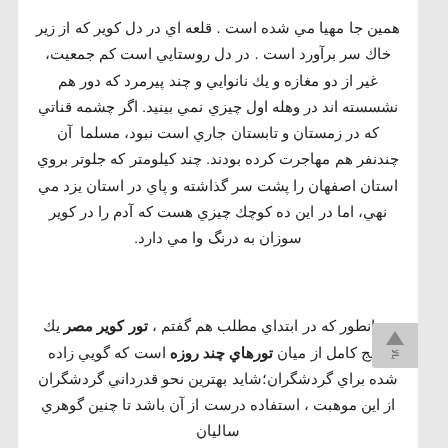همين جا مهيا مي شده است . قلعه اي در دل كوير كه از زير خاك سر برآورد است . در دل روستايي است كم جمعيت، غير از دو مغازه و يك نانوايي و چند پيرمرد كه دور هم نشسسته اند در وهله اول چيزي نمي بينيد. اگر چشمه قناتي كه در زمستان و تابستان جاري است نبود، مسلما  آن چندنفر هم مهاجرت كرده بودند. چند كيلومتر كه جلوتر بروي استان اصفهان را پشت سر گذاشته و پاي در استان يزد مي نهي، اما در اين ده كوچك چيزي هست كه آدم را در كوير سوزان به درنگ وا مي دارد.
همانطور كه در ابتداي مطلب هم گفتم ، تور كوير مصر يك پكيج كامل از ميان تورهاي چند روزه است كه گويي زاده شده براي گردشگران؛شايد بهترين نحو قدرداني گردشگران از اين موهبت ، استفاده درست از آن باشد تا چنين گوهري ساليان